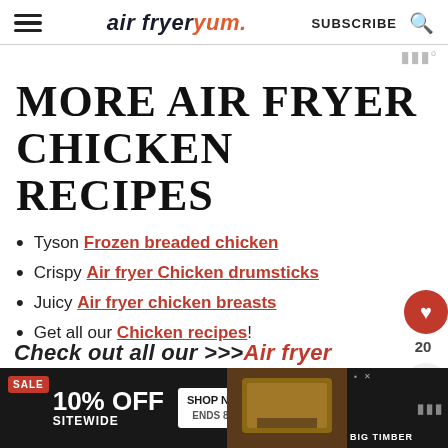air fryer yum. SUBSCRIBE [search icon]
MORE AIR FRYER CHICKEN RECIPES
Tyson Frozen breaded chicken
Crispy Air fryer Chicken drumsticks
Juicy Air fryer chicken breasts
Get all our Chicken recipes!
Check out all our >>>Air fryer
[Figure (screenshot): Advertisement banner: SALE 10% OFF SITEWIDE, SHOP NOW, ENDS 8/31, BIG TIMBER image]
WWº